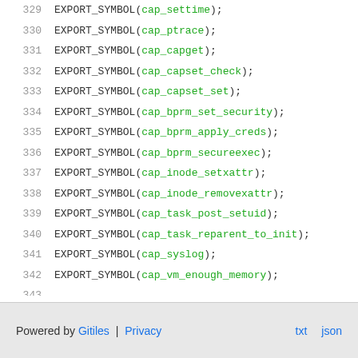[Figure (screenshot): Source code listing showing lines 329-345 of a Linux kernel capabilities module, with line numbers in grey and code in monospace font. EXPORT_SYMBOL calls and MODULE_DESCRIPTION/MODULE_LICENSE macros visible.]
Powered by Gitiles | Privacy    txt  json